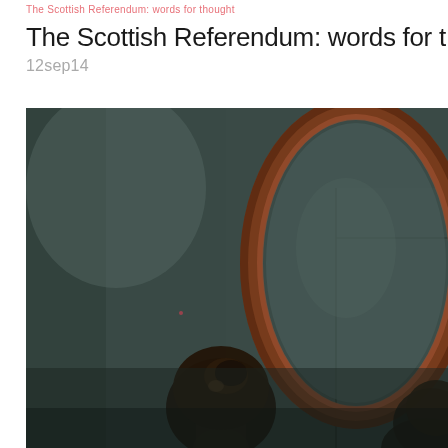The Scottish Referendum: words for thought
The Scottish Referendum: words for though
12sep14
[Figure (photo): A painting or classical artwork showing a person (seen from behind, with dark hair in a bun) looking into or standing before a large oval wooden-framed mirror, set against a dark teal/grey wall with a door visible in the background.]